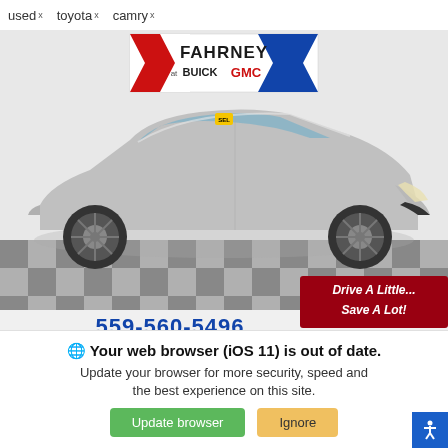used × toyota × camry ×
[Figure (photo): Silver Toyota Camry displayed at Fahrney Buick GMC dealership with checkered floor. Dealer logo at top reads FAHRNEY BUICK GMC with red and blue chevron stripes. Phone number 559-560-5496 and address 3105 Highland Ave, Selma, CA shown at bottom. Red banner reads 'Drive A Little... Save A Lot!']
Your web browser (iOS 11) is out of date.
Update your browser for more security, speed and the best experience on this site.
Update browser
Ignore